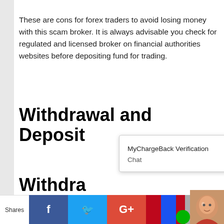These are cons for forex traders to avoid losing money with this scam broker. It is always advisable you check for regulated and licensed broker on financial authorities websites before depositing fund for trading.
Withdrawal and Deposit
Withdra
[Figure (screenshot): Chat popup overlay reading 'MyChargeBack Verification Chat' with a close button]
Treasure Forex leaves us with no specifi
Shares [Facebook] [Twitter] [Google+] [Pinterest] [Email]